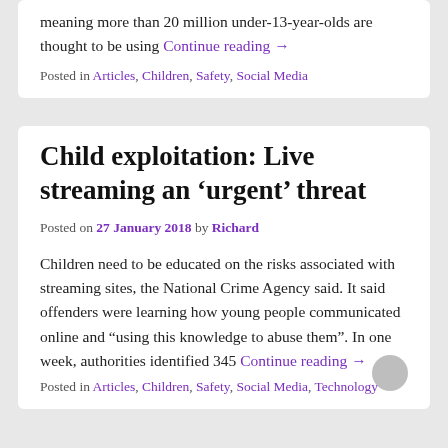meaning more than 20 million under-13-year-olds are thought to be using Continue reading →
Posted in Articles, Children, Safety, Social Media
Child exploitation: Live streaming an 'urgent' threat
Posted on 27 January 2018 by Richard
Children need to be educated on the risks associated with streaming sites, the National Crime Agency said. It said offenders were learning how young people communicated online and "using this knowledge to abuse them". In one week, authorities identified 345 Continue reading →
Posted in Articles, Children, Safety, Social Media, Technology